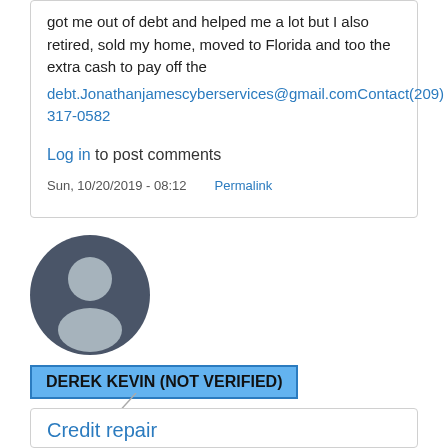got me out of debt and helped me a lot but I also retired, sold my home, moved to Florida and too the extra cash to pay off the debt.Jonathanjamescyberservices@gmail.comContact(209) 317-0582
Log in to post comments
Sun, 10/20/2019 - 08:12   Permalink
[Figure (illustration): Default user avatar: dark gray circle with white silhouette of a person (head and shoulders)]
DEREK KEVIN (NOT VERIFIED)
Credit repair